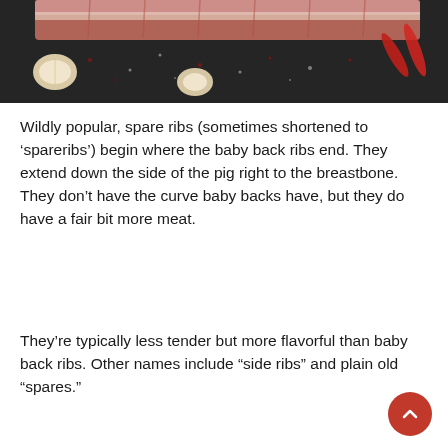[Figure (photo): Close-up photo of raw pork spare ribs on a dark slate surface with garlic cloves, red chili peppers, and scattered peppercorns and salt crystals]
Wildly popular, spare ribs (sometimes shortened to 'spareribs') begin where the baby back ribs end. They extend down the side of the pig right to the breastbone. They don't have the curve baby backs have, but they do have a fair bit more meat.
They're typically less tender but more flavorful than baby back ribs. Other names include “side ribs” and plain old “spares.”